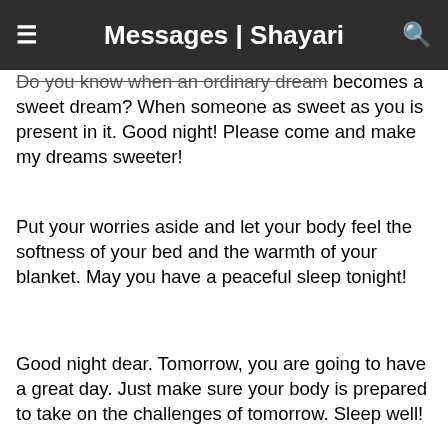Messages | Shayari
Do you know when an ordinary dream becomes a sweet dream? When someone as sweet as you is present in it. Good night! Please come and make my dreams sweeter!
Put your worries aside and let your body feel the softness of your bed and the warmth of your blanket. May you have a peaceful sleep tonight!
Good night dear. Tomorrow, you are going to have a great day. Just make sure your body is prepared to take on the challenges of tomorrow. Sleep well!
Nights like this, are blessings from God. Don't waste this blessing by staying